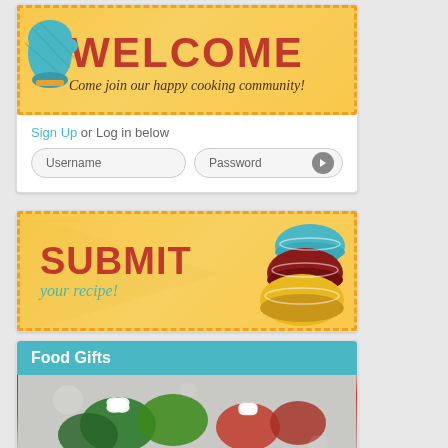[Figure (screenshot): Welcome banner with oven mitt graphic and 'WELCOME Come join our happy cooking community!' text on yellow dotted background]
Sign Up or Log in below
[Figure (screenshot): Username and Password input fields with arrow button]
[Figure (illustration): Submit your recipe banner with stacked colorful mixing bowls on yellow dotted background]
Food Gifts
[Figure (photo): Photo of green and red decorated cookies or candy with white bows, resembling gift-wrapped food items]